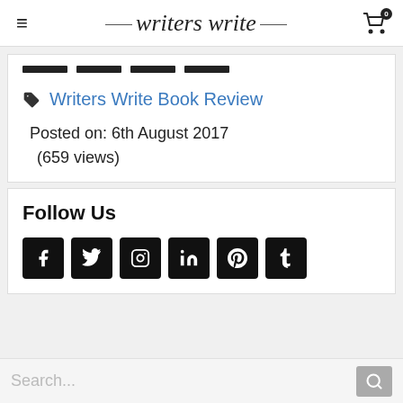writers write
Writers Write Book Review
Posted on: 6th August 2017
(659 views)
Follow Us
[Figure (other): Social media icons: Facebook, Twitter, Instagram, LinkedIn, Pinterest, Tumblr]
Search...